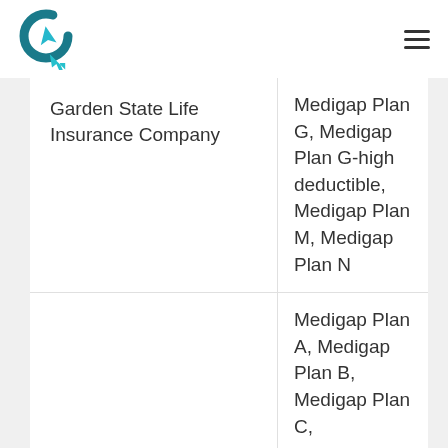| Company | Plans |
| --- | --- |
| Garden State Life Insurance Company | Medigap Plan G, Medigap Plan G-high deductible, Medigap Plan M, Medigap Plan N |
| Global Life and Accident… | Medigap Plan A, Medigap Plan B, Medigap Plan C, Medigap… |